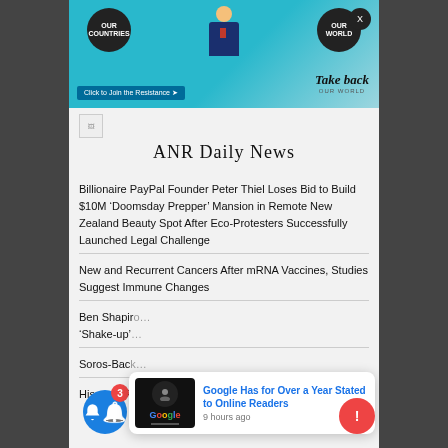[Figure (illustration): Banner advertisement showing a figure holding two dark circles labeled 'OUR COUNTRIES' and 'OUR WORLD', with text 'Click to Join the Resistance' and 'Take back OUR WORLD']
[Figure (logo): Small broken image icon placeholder for logo]
ANR Daily News
Billionaire PayPal Founder Peter Thiel Loses Bid to Build $10M ‘Doomsday Prepper’ Mansion in Remote New Zealand Beauty Spot After Eco-Protesters Successfully Launched Legal Challenge
New and Recurrent Cancers After mRNA Vaccines, Studies Suggest Immune Changes
Ben Shapir… ‘Shake-up’…
Soros-Bac…
Hispanic Radio Stations Ahead of 2022 Midterms
[Figure (screenshot): Popup notification showing Google logo image with headline 'Google Has for Over a Year Stated to Online Readers' and timestamp '9 hours ago']